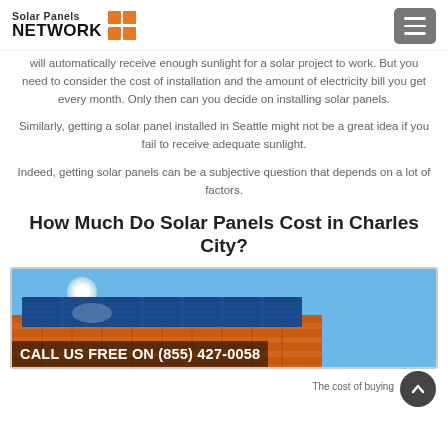Solar Panels NETWORK
will automatically receive enough sunlight for a solar project to work. But you need to consider the cost of installation and the amount of electricity bill you get every month. Only then can you decide on installing solar panels.
Similarly, getting a solar panel installed in Seattle might not be a great idea if you fail to receive adequate sunlight.
Indeed, getting solar panels can be a subjective question that depends on a lot of factors.
How Much Do Solar Panels Cost in Charles City?
[Figure (photo): Solar panels on an orange tiled roof against a blue sky]
CALL US FREE ON (855) 427-0058
The cost of buying